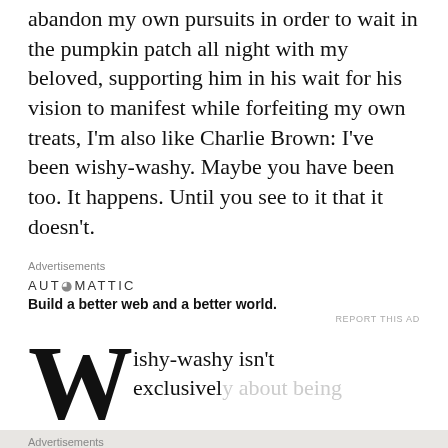abandon my own pursuits in order to wait in the pumpkin patch all night with my beloved, supporting him in his wait for his vision to manifest while forfeiting my own treats, I'm also like Charlie Brown: I've been wishy-washy. Maybe you have been too. It happens. Until you see to it that it doesn't.
Advertisements
[Figure (logo): Automattic logo and tagline: AUTOMATTIC / Build a better web and a better world.]
REPORT THIS AD
Wishy-washy isn't exclusively about being
Advertisements
[Figure (infographic): DuckDuckGo advertisement on orange background: 'Search, browse, and email with more privacy. All in One Free App' with DuckDuckGo logo and phone image.]